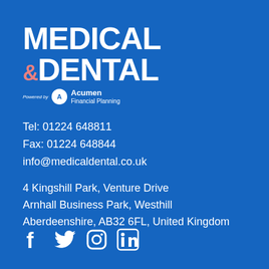[Figure (logo): Medical & Dental logo in white bold text with pink ampersand, and 'Powered by Acumen Financial Planning' tagline with circular Acumen logo]
Tel: 01224 648811
Fax: 01224 648844
info@medicaldental.co.uk
4 Kingshill Park, Venture Drive
Arnhall Business Park, Westhill
Aberdeenshire, AB32 6FL, United Kingdom
[Figure (logo): Social media icons: Facebook, Twitter, Instagram, LinkedIn in white]